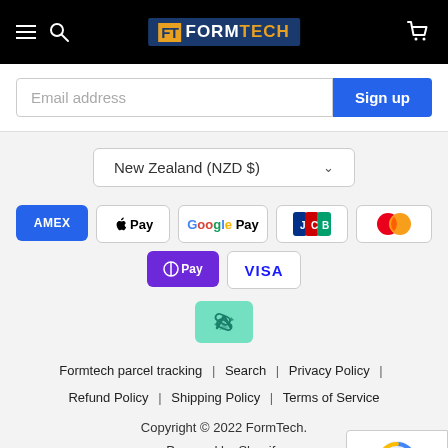[Figure (logo): FormTech website header with hamburger menu, search icon, FormTech logo in navy/orange, and cart icon on black background]
Email address
Sign up
New Zealand (NZD $)
[Figure (infographic): Payment method badges: AMEX, Apple Pay, Google Pay, JCB, Mastercard, O Pay, VISA, Afterpay]
Formtech parcel tracking | Search | Privacy Policy | Refund Policy | Shipping Policy | Terms of Service
Copyright © 2022 FormTech.
Powered by Shopify